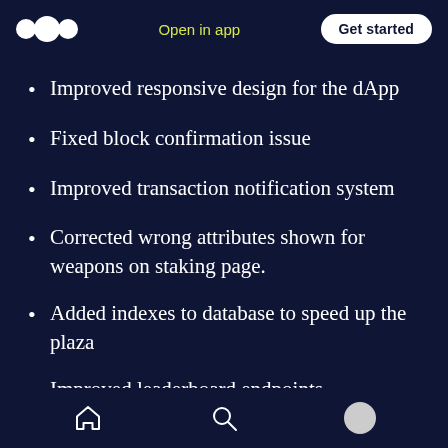Open in app  Get started
Improved responsive design for the dApp
Fixed block confirmation issue
Improved transaction notification system
Corrected wrong attributes shown for weapons on staking page.
Added indexes to database to speed up the plaza
Improved leaderboard endpoints
Home  Search  Profile